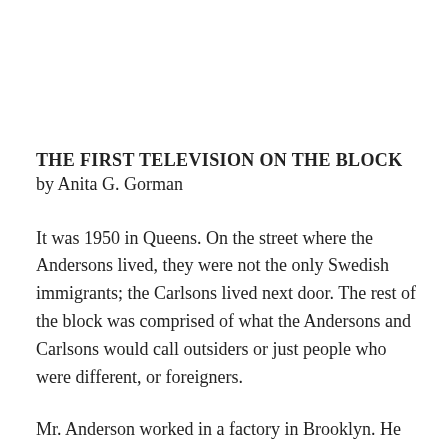THE FIRST TELEVISION ON THE BLOCK
by Anita G. Gorman
It was 1950 in Queens. On the street where the Andersons lived, they were not the only Swedish immigrants; the Carlsons lived next door. The rest of the block was comprised of what the Andersons and Carlsons would call outsiders or just people who were different, or foreigners.
Mr. Anderson worked in a factory in Brooklyn. He did not think of himself as an innovator or a revolutionary, but for some reason, he decided that he wanted to buy a